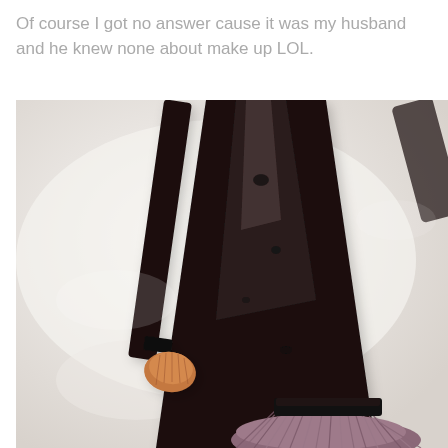Of course I got no answer cause it was my husband and he knew none about make up LOL.
[Figure (photo): Close-up photo of two makeup brushes with dark/black handles lying on a white surface. One brush has orange-tan bristles, the other has mauve/purple bristles fanned out at the bottom.]